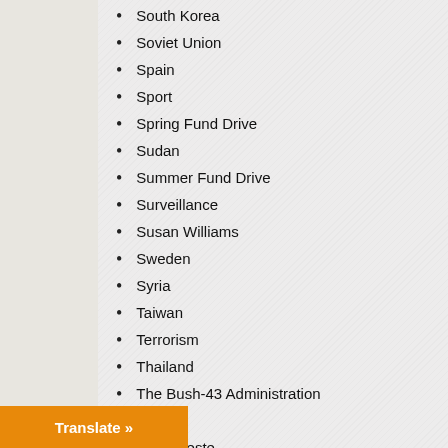South Korea
Soviet Union
Spain
Sport
Spring Fund Drive
Sudan
Summer Fund Drive
Surveillance
Susan Williams
Sweden
Syria
Taiwan
Terrorism
Thailand
The Bush-43 Administration
Theater
Timor Leste
Torture
Trump Administration
Tunisia